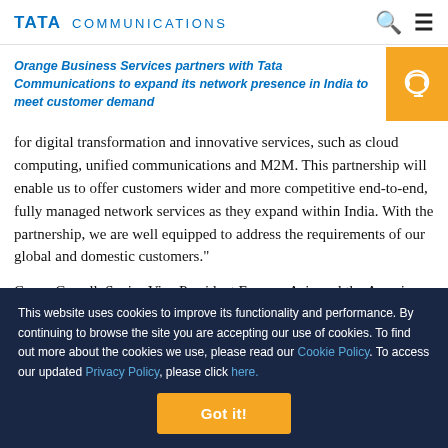TATA COMMUNICATIONS
Orange Business Services partners with Tata Communications to expand its network presence in India to meet customer demand
for digital transformation and innovative services, such as cloud computing, unified communications and M2M. This partnership will enable us to offer customers wider and more competitive end-to-end, fully managed network services as they expand within India. With the partnership, we are well equipped to address the requirements of our global and domestic customers."
Conor Carroll, Senior Vice President Europe, Asia and the Ameri
This website uses cookies to improve its functionality and performance. By continuing to browse the site you are accepting our use of cookies. To find out more about the cookies we use, please read our Cookie Policy. To access our updated Privacy Policy, please click here.